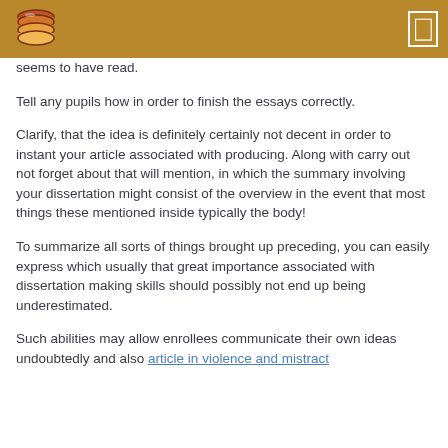seems to have read.
Tell any pupils how in order to finish the essays correctly.
Clarify, that the idea is definitely certainly not decent in order to instant your article associated with producing. Along with carry out not forget about that will mention, in which the summary involving your dissertation might consist of the overview in the event that most things these mentioned inside typically the body!
To summarize all sorts of things brought up preceding, you can easily express which usually that great importance associated with dissertation making skills should possibly not end up being underestimated.
Such abilities may allow enrollees communicate their own ideas undoubtedly and also article in violence and mistract